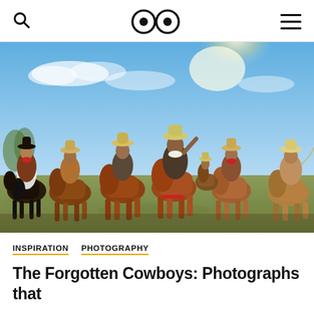🔍  👀  ☰
[Figure (photo): A group of cowboys wearing cowboy hats riding horses across an open grassy field under a bright blue sky with sunlight in the background.]
INSPIRATION   PHOTOGRAPHY
The Forgotten Cowboys: Photographs that